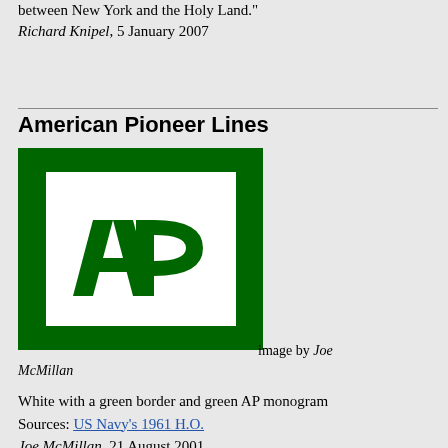between New York and the Holy Land."
Richard Knipel, 5 January 2007
American Pioneer Lines
[Figure (logo): White with green border and green AP monogram logo for American Pioneer Lines]
image by Joe McMillan
White with a green border and green AP monogram
Sources: US Navy's 1961 H.O.
Joe McMillan, 21 August 2001